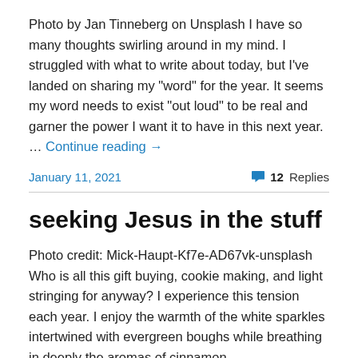Photo by Jan Tinneberg on Unsplash I have so many thoughts swirling around in my mind. I struggled with what to write about today, but I've landed on sharing my "word" for the year. It seems my word needs to exist "out loud" to be real and garner the power I want it to have in this next year. … Continue reading →
January 11, 2021   💬 12 Replies
seeking Jesus in the stuff
Photo credit: Mick-Haupt-Kf7e-AD67vk-unsplash Who is all this gift buying, cookie making, and light stringing for anyway? I experience this tension each year. I enjoy the warmth of the white sparkles intertwined with evergreen boughs while breathing in deeply the aromas of cinnamon